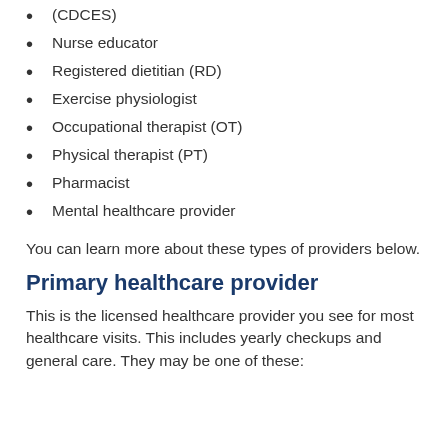(CDCES)
Nurse educator
Registered dietitian (RD)
Exercise physiologist
Occupational therapist (OT)
Physical therapist (PT)
Pharmacist
Mental healthcare provider
You can learn more about these types of providers below.
Primary healthcare provider
This is the licensed healthcare provider you see for most healthcare visits. This includes yearly checkups and general care. They may be one of these: